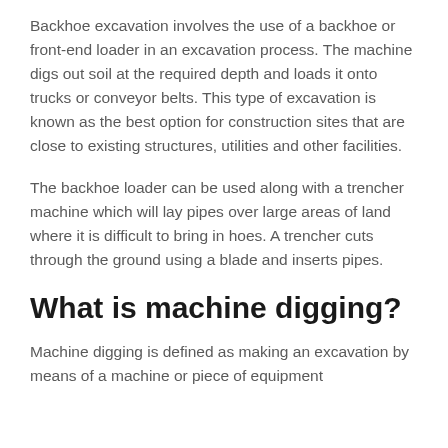Backhoe excavation involves the use of a backhoe or front-end loader in an excavation process. The machine digs out soil at the required depth and loads it onto trucks or conveyor belts. This type of excavation is known as the best option for construction sites that are close to existing structures, utilities and other facilities.
The backhoe loader can be used along with a trencher machine which will lay pipes over large areas of land where it is difficult to bring in hoes. A trencher cuts through the ground using a blade and inserts pipes.
What is machine digging?
Machine digging is defined as making an excavation by means of a machine or piece of equipment